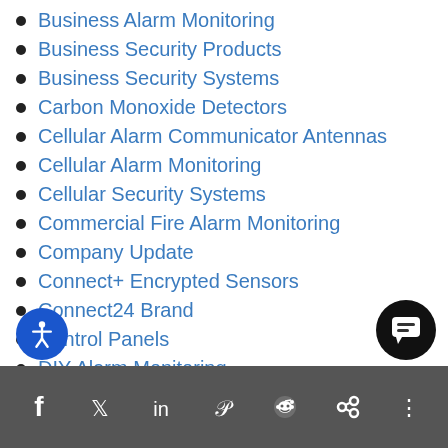Business Alarm Monitoring
Business Security Products
Business Security Systems
Carbon Monoxide Detectors
Cellular Alarm Communicator Antennas
Cellular Alarm Monitoring
Cellular Security Systems
Commercial Fire Alarm Monitoring
Company Update
Connect+ Encrypted Sensors
Connect24 Brand
Control Panels
DIY Alarm Monitoring
DIY Security Systems
Social sharing bar: Facebook, Twitter, LinkedIn, Pinterest, Reddit, Share, and more